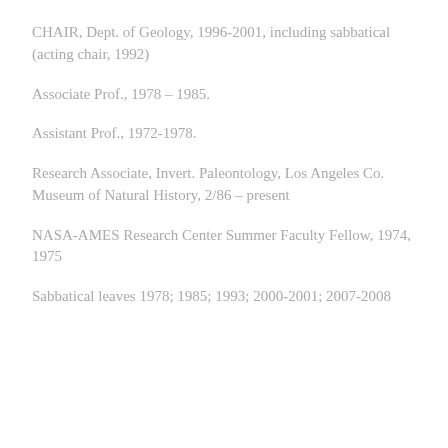CHAIR, Dept. of Geology, 1996-2001, including sabbatical (acting chair, 1992)
Associate Prof., 1978 – 1985.
Assistant Prof., 1972-1978.
Research Associate, Invert. Paleontology, Los Angeles Co. Museum of Natural History, 2/86 – present
NASA-AMES Research Center Summer Faculty Fellow, 1974, 1975
Sabbatical leaves 1978; 1985; 1993; 2000-2001; 2007-2008